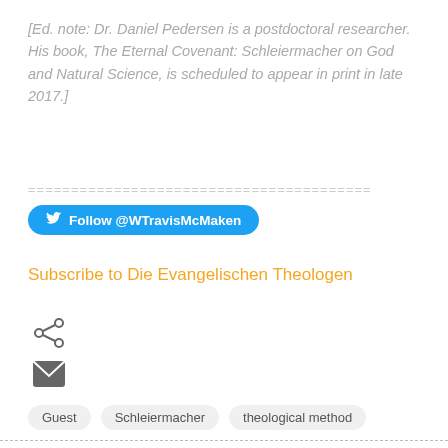[Ed. note: Dr. Daniel Pedersen is a postdoctoral researcher. His book, The Eternal Covenant: Schleiermacher on God and Natural Science, is scheduled to appear in print in late 2017.]
======================================
Follow @WTravisMcMaken
Subscribe to Die Evangelischen Theologen
[Figure (other): Share icon (three connected dots)]
[Figure (other): Email/envelope icon]
Guest   Schleiermacher   theological method
Theology
J. Scott Jackson said